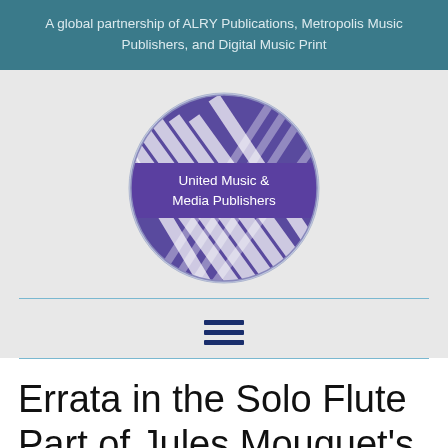A global partnership of ALRY Publications, Metropolis Music Publishers, and Digital Music Print
[Figure (logo): Globe logo with purple band reading 'United Music & Media Publishers', white and purple striped globe design]
[Figure (other): Hamburger menu icon — three horizontal dark blue bars]
Errata in the Solo Flute Part of Jules Mouquet's LA FLUTE DE PAN